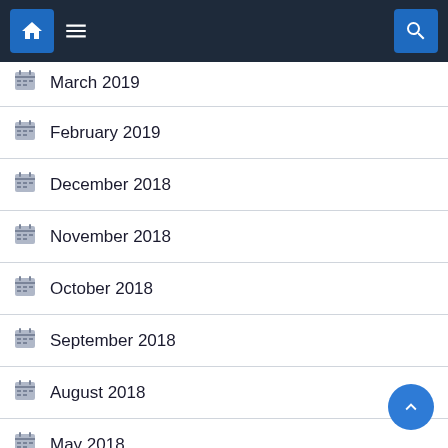Navigation bar with home, menu, and search icons
March 2019
February 2019
December 2018
November 2018
October 2018
September 2018
August 2018
May 2018
March 2018
February 2018